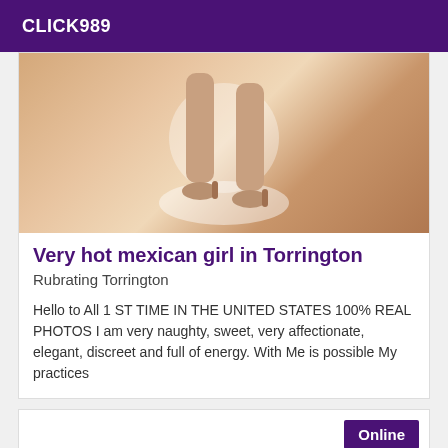CLICK989
[Figure (photo): Close-up photo of a woman's legs and feet wearing open-toe heels, standing near a round white surface on a wooden floor.]
Very hot mexican girl in Torrington
Rubrating Torrington
Hello to All 1 ST TIME IN THE UNITED STATES 100% REAL PHOTOS I am very naughty, sweet, very affectionate, elegant, discreet and full of energy. With Me is possible My practices
Online